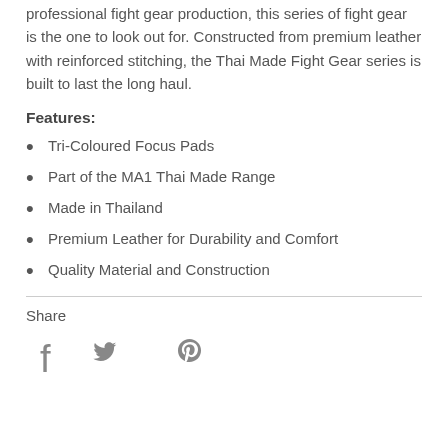professional fight gear production, this series of fight gear is the one to look out for. Constructed from premium leather with reinforced stitching, the Thai Made Fight Gear series is built to last the long haul.
Features:
Tri-Coloured Focus Pads
Part of the MA1 Thai Made Range
Made in Thailand
Premium Leather for Durability and Comfort
Quality Material and Construction
Share